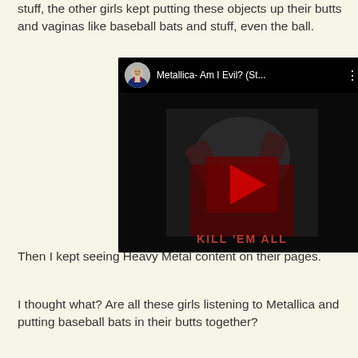stuff, the other girls kept putting these objects up their butts and vaginas like baseball bats and stuff, even the ball.
[Figure (screenshot): YouTube video thumbnail for 'Metallica- Am I Evil? (St...' showing the Kill 'Em All album art with a dark background, a play button in the center, and text 'KILL 'EM ALL' at the bottom. A user avatar and video title appear in the top bar.]
Then I kept seeing Heavy Metal content on their pages.
I thought what? Are all these girls listening to Metallica and putting baseball bats in their butts together?